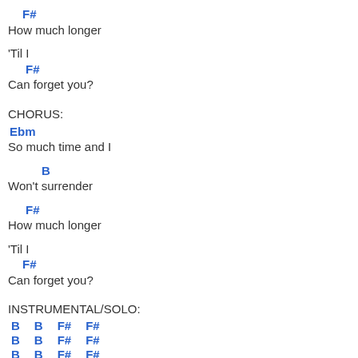F#
How much longer
'Til I
  F#
Can forget you?
CHORUS:
Ebm
So much time and I
B
Won't surrender
F#
How much longer
'Til I
  F#
Can forget you?
INSTRUMENTAL/SOLO:
B  B  F#  F#
B  B  F#  F#
B  B  F#  F#
B  B  F#  F#
OUTRO:
Ebm
Ooo-ooo-ooo-oo